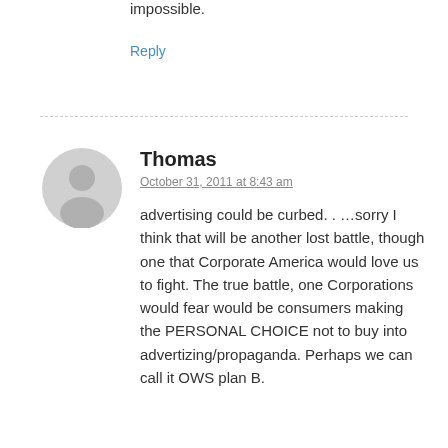impossible.
Reply
Thomas
October 31, 2011 at 8:43 am
advertising could be curbed. . …sorry I think that will be another lost battle, though one that Corporate America would love us to fight. The true battle, one Corporations would fear would be consumers making the PERSONAL CHOICE not to buy into advertizing/propaganda. Perhaps we can call it OWS plan B.